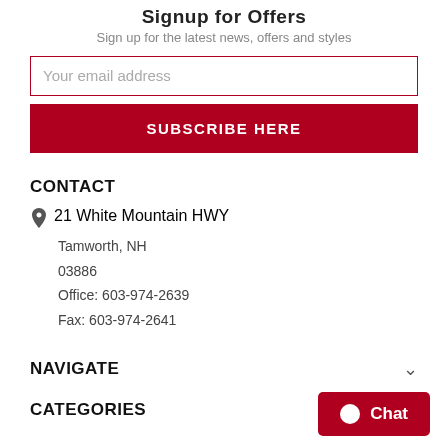Signup for Offers
Sign up for the latest news, offers and styles
Your email address
SUBSCRIBE HERE
CONTACT
21 White Mountain HWY
Tamworth, NH
03886
Office: 603-974-2639
Fax: 603-974-2641
NAVIGATE
CATEGORIES